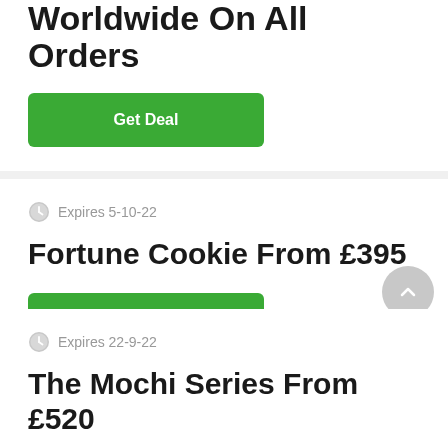Worldwide On All Orders
Get Deal
Expires 5-10-22
Fortune Cookie From £395
Get Deal
Expires 22-9-22
The Mochi Series From £520